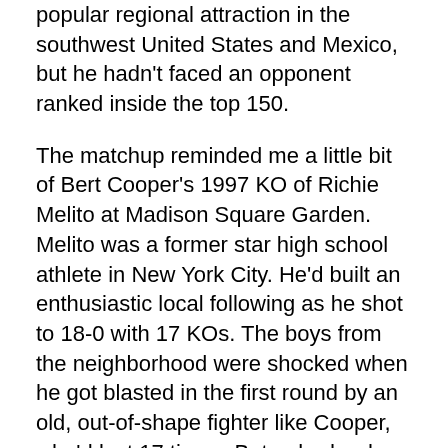popular regional attraction in the southwest United States and Mexico, but he hadn't faced an opponent ranked inside the top 150.
The matchup reminded me a little bit of Bert Cooper's 1997 KO of Richie Melito at Madison Square Garden. Melito was a former star high school athlete in New York City. He'd built an enthusiastic local following as he shot to 18-0 with 17 KOs. The boys from the neighborhood were shocked when he got blasted in the first round by an old, out-of-shape fighter like Cooper, who'd lost 17 times. But nobody who remembered seeing Cooper rock Evander Holyfield in 1991 was remotely surprised.
Mayweather's 45-0 is a completely different matter, of course. He's fought at the world-championship level for over a decade. His list of victims includes future Hall of Famers. Arguments about the greatest